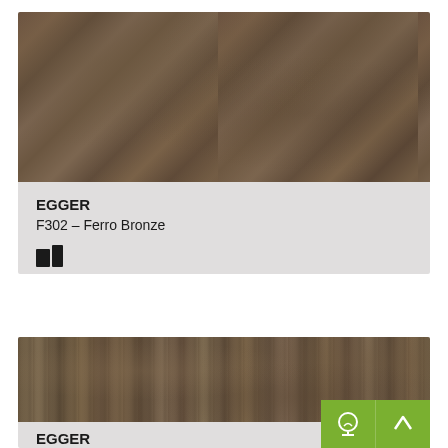[Figure (photo): Texture swatch of Ferro Bronze material – brownish-bronze mottled stone/metal surface finish]
EGGER
F302 – Ferro Bronze
[Figure (illustration): Small icons: two rectangles representing material swatch samples]
[Figure (photo): Second texture swatch – similar brownish woody/stone patterned surface with vertical grain lines, partial view]
EGGER